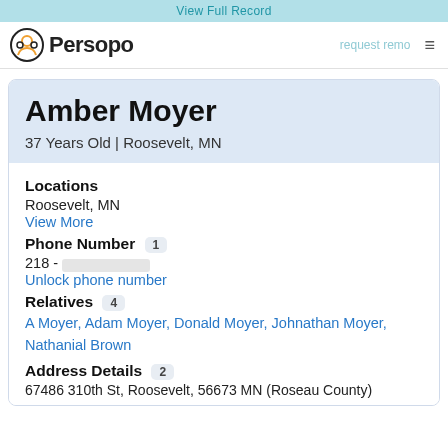View Full Record
[Figure (logo): Persopo logo with person search icon and brand name]
request removal (partial, cut off)
Amber Moyer
37 Years Old | Roosevelt, MN
Locations
Roosevelt, MN
View More
Phone Number 1
218 - [redacted]
Unlock phone number
Relatives 4
A Moyer, Adam Moyer, Donald Moyer, Johnathan Moyer, Nathanial Brown
Address Details 2
67486 310th St, Roosevelt, 56673 MN (Roseau County)